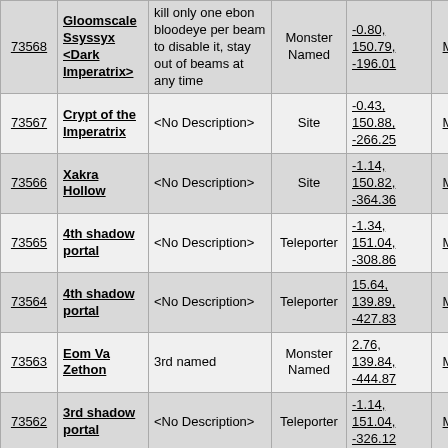| ID | Name | Description | Type | Coords | User | Date |
| --- | --- | --- | --- | --- | --- | --- |
| 73568 | Gloomscale Ssyssyx <Dark Imperatrix> | kill only one ebon bloodeye per beam to disable it, stay out of beams at any time | Monster Named | -0.80, 150.79, -196.01 | Megor | 09/ |
| 73567 | Crypt of the Imperatrix | <No Description> | Site | -0.43, 150.88, -266.25 | Megor | 09/ |
| 73566 | Xakra Hollow | <No Description> | Site | -1.14, 150.82, -364.36 | Megor | 09/ |
| 73565 | 4th shadow portal | <No Description> | Teleporter | -1.34, 151.04, -308.86 | Megor | 09/ |
| 73564 | 4th shadow portal | <No Description> | Teleporter | 15.64, 139.89, -427.83 | Megor | 09/ |
| 73563 | Eom Va Zethon | 3rd named | Monster Named | 2.76, 139.84, -444.87 | Megor | 09/ |
| 73562 | 3rd shadow portal | <No Description> | Teleporter | -1.14, 151.04, -326.12 | Megor | 09/ |